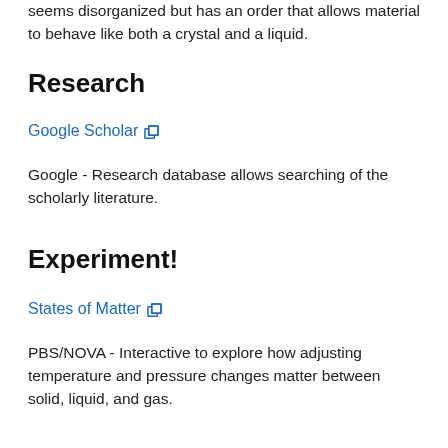seems disorganized but has an order that allows material to behave like both a crystal and a liquid.
Research
Google Scholar ⧉
Google - Research database allows searching of the scholarly literature.
Experiment!
States of Matter ⧉
PBS/NOVA - Interactive to explore how adjusting temperature and pressure changes matter between solid, liquid, and gas.